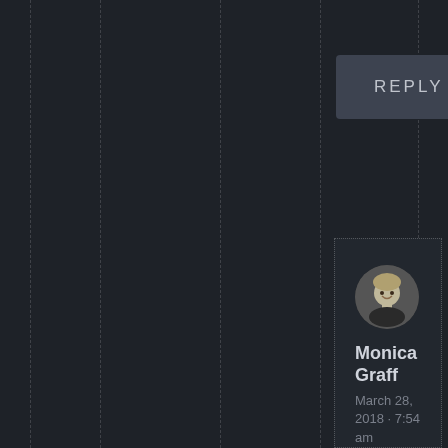REPLY ↓
[Figure (photo): Round avatar photo of Monica Graff, a woman with short blonde hair, smiling, shown in grayscale]
Monica Graff
March 28, 2018 · 7:54 am
Ah, that's right! I didn't think of that. And birds feed cats. So the cycle is